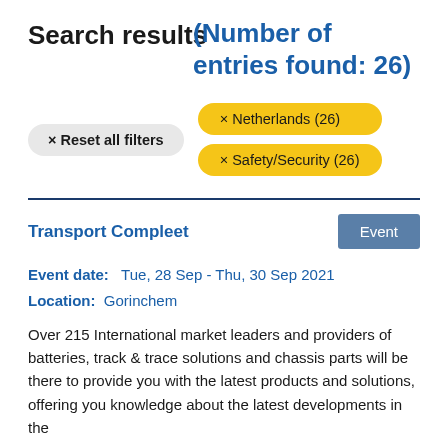Search results (Number of entries found: 26)
× Reset all filters
× Netherlands (26)
× Safety/Security (26)
Transport Compleet
Event
Event date:   Tue, 28 Sep - Thu, 30 Sep 2021
Location:   Gorinchem
Over 215 International market leaders and providers of batteries, track & trace solutions and chassis parts will be there to provide you with the latest products and solutions, offering you knowledge about the latest developments in the